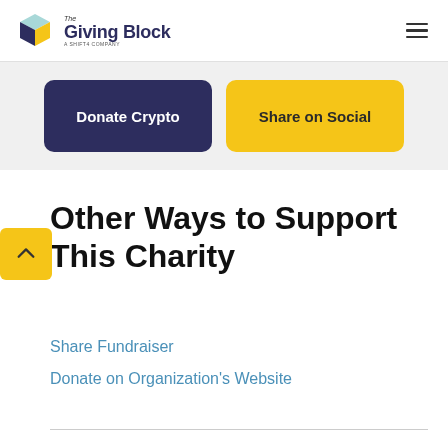The Giving Block — A Shift4 Company
Donate Crypto | Share on Social
Other Ways to Support This Charity
Share Fundraiser
Donate on Organization's Website